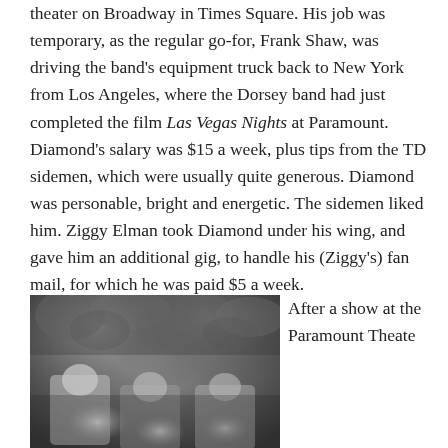theater on Broadway in Times Square. His job was temporary, as the regular go-for, Frank Shaw, was driving the band's equipment truck back to New York from Los Angeles, where the Dorsey band had just completed the film Las Vegas Nights at Paramount. Diamond's salary was $15 a week, plus tips from the TD sidemen, which were usually quite generous. Diamond was personable, bright and energetic. The sidemen liked him. Ziggy Elman took Diamond under his wing, and gave him an additional gig, to handle his (Ziggy's) fan mail, for which he was paid $5 a week.
[Figure (photo): Black and white photograph of three men outdoors with foliage in the background]
After a show at the Paramount Theate